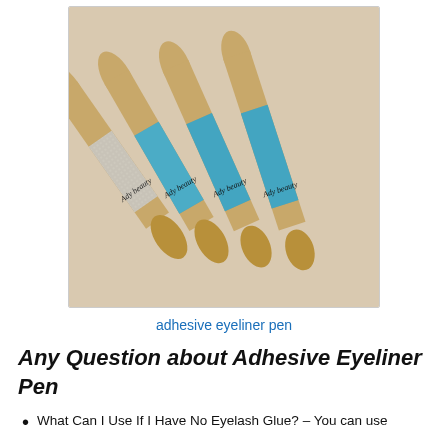[Figure (photo): Four Ady beauty adhesive eyeliner pens with rose gold caps and teal glitter bodies, arranged diagonally on a light beige background.]
adhesive eyeliner pen
Any Question about Adhesive Eyeliner Pen
What Can I Use If I Have No Eyelash Glue? – You can use